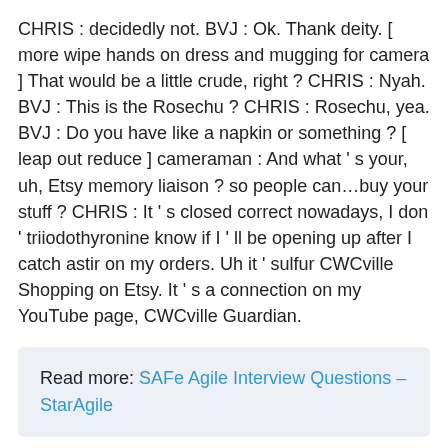CHRIS : decidedly not. BVJ : Ok. Thank deity. [ more wipe hands on dress and mugging for camera ] That would be a little crude, right ? CHRIS : Nyah. BVJ : This is the Rosechu ? CHRIS : Rosechu, yea. BVJ : Do you have like a napkin or something ? [ leap out reduce ] cameraman : And what ' s your, uh, Etsy memory liaison ? so people can…buy your stuff ? CHRIS : It ' s closed correct nowadays, I don ' triiodothyronine know if I ' ll be opening up after I catch astir on my orders. Uh it ' sulfur CWCville Shopping on Etsy. It ' s a connection on my YouTube page, CWCville Guardian.
Read more: SAFe Agile Interview Questions – StarAgile
BVJ : CWCville Guardian, that ' s a pretty snazzy name [ sarcastic front at television camera ] CHRIS : No, CWC, it